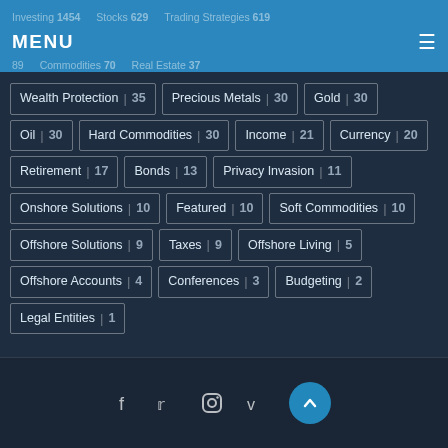MENU
Investing 1454  Stocks 629  Trading Strategies 619
Commodities 70  Real Estate 37
Wealth Protection 35  Precious Metals 30  Gold 30
Oil 30  Hard Commodities 30  Income 21  Currency 20
Retirement 17  Bonds 13  Privacy Invasion 11
Onshore Solutions 10  Featured 10  Soft Commodities 10
Offshore Solutions 9  Taxes 9  Offshore Living 5
Offshore Accounts 4  Conferences 3  Budgeting 2
Legal Entities 1
f  t  instagram  v  (up arrow)